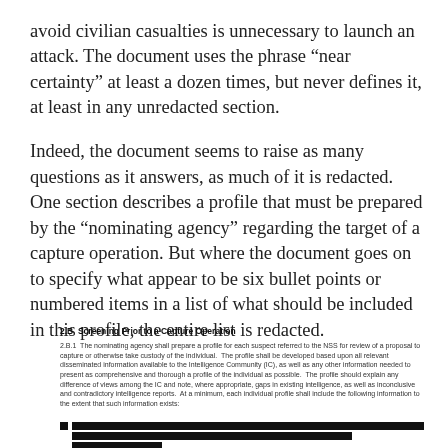avoid civilian casualties is unnecessary to launch an attack. The document uses the phrase “near certainty” at least a dozen times, but never defines it, at least in any unredacted section.
Indeed, the document seems to raise as many questions as it answers, as much of it is redacted. One section describes a profile that must be prepared by the “nominating agency” regarding the target of a capture operation. But where the document goes on to specify what appear to be six bullet points or numbered items in a list of what should be included in this profile, the entire list is redacted.
2.B  Screening Prior to a Capture Operation
2.B.1  The nominating agency shall prepare a profile for each suspect referred to the NSS for review of a proposal to capture or otherwise take custody of the individual.  The profile shall be developed based upon all relevant disseminated information available to the Intelligence Community (IC), as well as any other information needed to present as comprehensive and thorough a profile of the individual as possible.  The profile should explain any difference of views among the IC and note, where appropriate, gaps in existing intelligence, as well as inconclusive and contradictory intelligence reports.  At a minimum, each individual profile shall include the following information to the extent that such information exists:
[Figure (other): Redacted content: a bullet point followed by two fully blacked-out lines of text, and a third partial line, representing redacted items in a list.]